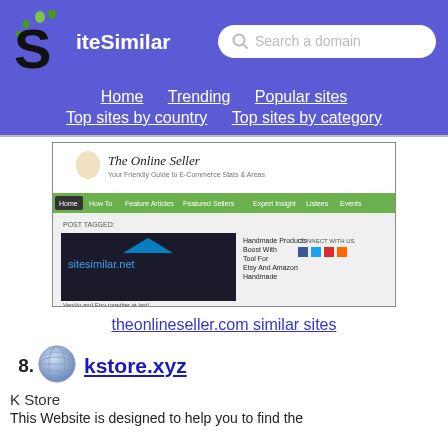[Figure (screenshot): SiteSimilar website header with logo (S with green dots, 'iteSimilar' text) and search bar saying 'Search a domain']
Home  Trending  Popular sites  Top sites by country  Top sites by category
[Figure (screenshot): Screenshot of theonlineseller.com website showing 'The Online Seller' header and 'Handmade Products Boost With Tool For Etsy And Amazon Handmade' content with sitesimilar.net watermark]
theonlineseller.com similar sites
48. kstore.xyz
K Store
This Website is designed to help you to find the